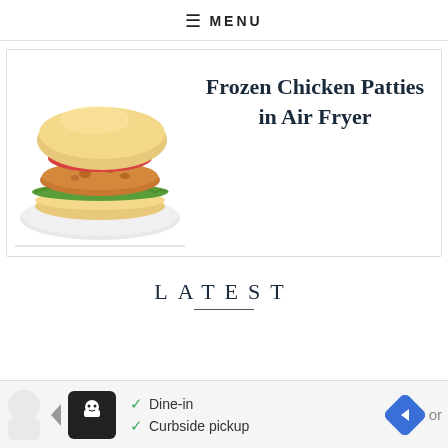☰ MENU
[Figure (photo): Crispy fried chicken patty burger with lettuce, tomato on a bun, served on a white plate]
Frozen Chicken Patties in Air Fryer
LATEST
[Figure (other): Advertisement banner showing Dine-in and Curbside pickup options with navigation icons]